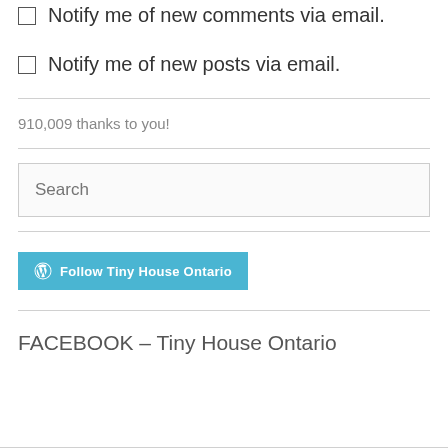Notify me of new comments via email.
Notify me of new posts via email.
910,009 thanks to you!
Search
[Figure (logo): WordPress follow button: Follow Tiny House Ontario]
FACEBOOK – Tiny House Ontario